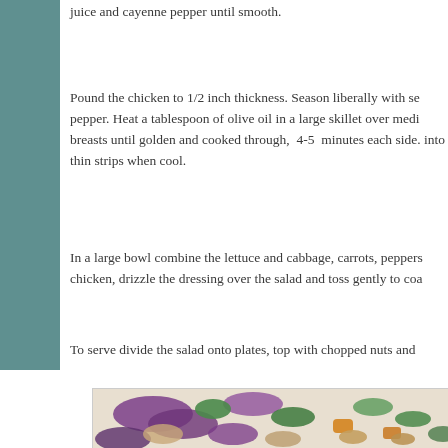juice and cayenne pepper until smooth.
Pound the chicken to 1/2 inch thickness. Season liberally with se pepper. Heat a tablespoon of olive oil in a large skillet over medi breasts until golden and cooked through, 4-5 minutes each side. into thin strips when cool.
In a large bowl combine the lettuce and cabbage, carrots, peppers chicken, drizzle the dressing over the salad and toss gently to coa
To serve divide the salad onto plates, top with chopped nuts and
[Figure (photo): Close-up photo of a colorful salad with purple cabbage, green herbs (cilantro/parsley), orange carrots, and almonds in a white bowl.]